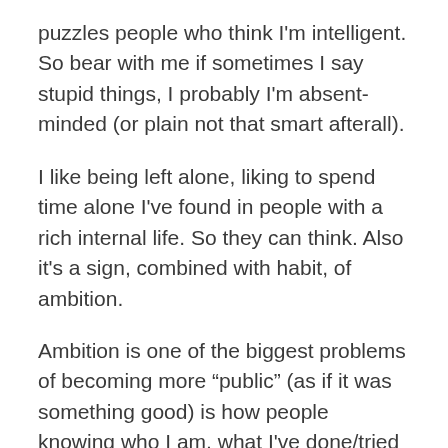puzzles people who think I'm intelligent. So bear with me if sometimes I say stupid things, I probably I'm absent-minded (or plain not that smart afterall).
I like being left alone, liking to spend time alone I've found in people with a rich internal life. So they can think. Also it's a sign, combined with habit, of ambition.
Ambition is one of the biggest problems of becoming more “public” (as if it was something good) is how people knowing who I am, what I've done/tried and what my ambitions are makes them feel like. Even on a